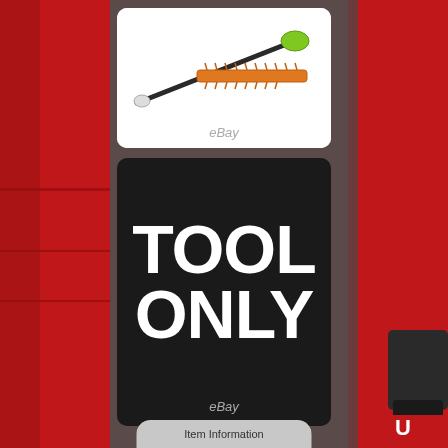[Figure (photo): eBay product listing screenshot showing two product images: top card shows a green and orange hedge trimmer/pole saw on white background with eBay watermark; bottom card shows black background with large white bold text reading TOOL ONLY with eBay watermark; red side panels visible on left and right edges; partial button at bottom reading Item Information]
eBay
TOOL ONLY
eBay
Item Information